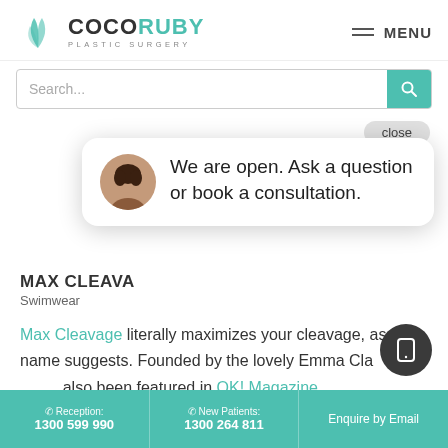[Figure (logo): CocoRuby Plastic Surgery logo with teal leaf/bird SVG mark and text]
MENU
Search...
close
[Figure (screenshot): Chat widget with avatar photo and text: We are open. Ask a question or book a consultation.]
MAX CLEAVAGE Swimwear
Max Cleavage literally maximizes your cleavage, as the name suggests. Founded by the lovely Emma Clarkson, it has also been featured in OK! Magazine, Cosmopolitan, and Company. They literally have the largest variety ever, from swimsuits to bras (hint: that could work as swimsuits).
Reception: 1300 599 990 | New Patients: 1300 264 811 | Enquire by Email